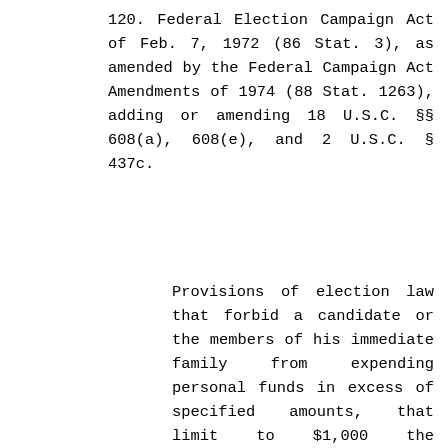120. Federal Election Campaign Act of Feb. 7, 1972 (86 Stat. 3), as amended by the Federal Campaign Act Amendments of 1974 (88 Stat. 1263), adding or amending 18 U.S.C. §§ 608(a), 608(e), and 2 U.S.C. § 437c.
Provisions of election law that forbid a candidate or the members of his immediate family from expending personal funds in excess of specified amounts, that limit to $1,000 the independent expenditures of any person relative to an identified candidate, and that forbid expenditures by candidates for federal office in excess of specified amounts violate the First Amendment speech guarantees; provisions of the law creating a commission to oversee enforcement of the Act are an invalid infringement of constitutional separation of powers in that they devolve responsibilities upon a commission four of whose six members are